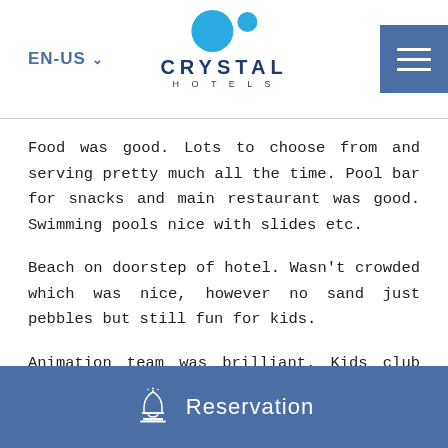EN-US | Crystal Hotels
Food was good. Lots to choose from and serving pretty much all the time. Pool bar for snacks and main restaurant was good. Swimming pools nice with slides etc.
Beach on doorstep of hotel. Wasn't crowded which was nice, however no sand just pebbles but still fun for kids.
Animation team was brilliant. Kids club people were very nice to the children. Nice slides and baby pool. They had a mini disco every night for the children and a
Reservation